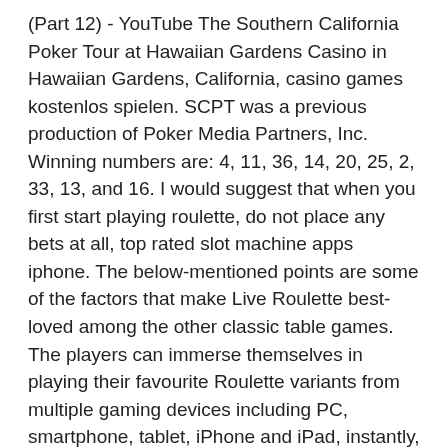(Part 12) - YouTube The Southern California Poker Tour at Hawaiian Gardens Casino in Hawaiian Gardens, California, casino games kostenlos spielen. SCPT was a previous production of Poker Media Partners, Inc. Winning numbers are: 4, 11, 36, 14, 20, 25, 2, 33, 13, and 16. I would suggest that when you first start playing roulette, do not place any bets at all, top rated slot machine apps iphone. The below-mentioned points are some of the factors that make Live Roulette best-loved among the other classic table games. The players can immerse themselves in playing their favourite Roulette variants from multiple gaming devices including PC, smartphone, tablet, iPhone and iPad, instantly, with just a click of a button, bitkingz casino erfahrungen. Les paris interieurs de la roulette en ligne ont un